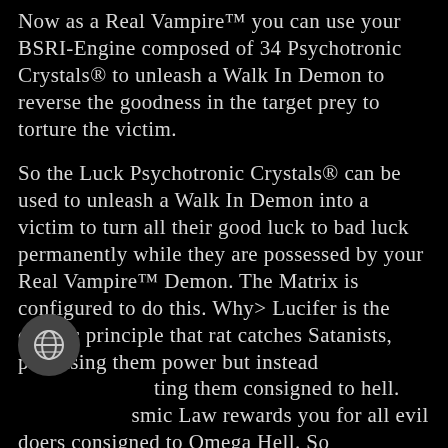Now as a Real Vampire™ you can use your BSRI-Engine composed of 34 Psychotronic Crystals® to unleash a Walk In Demon to reverse the goodness in the target prey to torture the victim.
So the Luck Psychotronic Crystals® can be used to unleash a Walk In Demon into a victim to turn all their good luck to bad luck permanently while they are possessed by your Real Vampire™ Demon. The Matrix is configured to do this. Why> Lucifer is the cosmic principle that rat catches Satanists, promising them power but instead ting them consigned to hell. smic Law rewards you for all evil doers consigned to Omega Hell. So